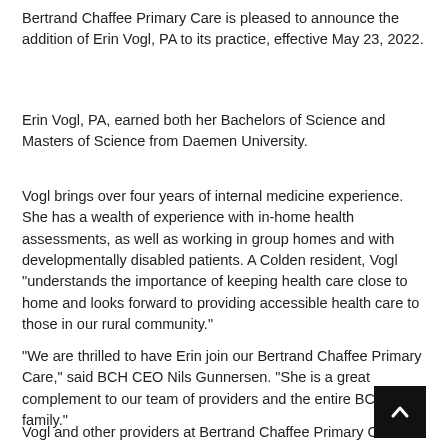Bertrand Chaffee Primary Care is pleased to announce the addition of Erin Vogl, PA to its practice, effective May 23, 2022.
Erin Vogl, PA, earned both her Bachelors of Science and Masters of Science from Daemen University.
Vogl brings over four years of internal medicine experience. She has a wealth of experience with in-home health assessments, as well as working in group homes and with developmentally disabled patients. A Colden resident, Vogl "understands the importance of keeping health care close to home and looks forward to providing accessible health care to those in our rural community."
"We are thrilled to have Erin join our Bertrand Chaffee Primary Care," said BCH CEO Nils Gunnersen. "She is a great complement to our team of providers and the entire BCH family."
Vogl and other providers at Bertrand Chaffee Primary Care are